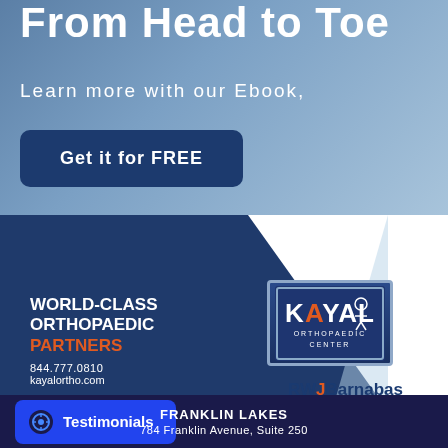From Head to Toe
Learn more with our Ebook,
Get it for FREE
[Figure (logo): World-Class Orthopaedic Partners advertisement with Kayal Orthopaedic Center logo and RWJBarnabas Health logo on blue background]
Testimonials
FRANKLIN LAKES
784 Franklin Avenue, Suite 250